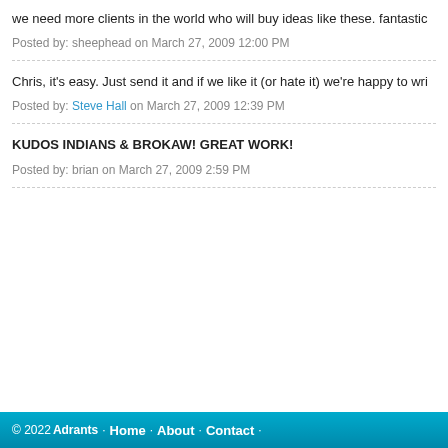we need more clients in the world who will buy ideas like these. fantastic
Posted by: sheephead on March 27, 2009 12:00 PM
Chris, it's easy. Just send it and if we like it (or hate it) we're happy to wri
Posted by: Steve Hall on March 27, 2009 12:39 PM
KUDOS INDIANS & BROKAW! GREAT WORK!
Posted by: brian on March 27, 2009 2:59 PM
© 2022 Adrants · Home · About · Contact ·